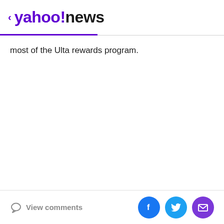< yahoo!news
most of the Ulta rewards program.
View comments | Share on Facebook | Share on Twitter | Share via Email